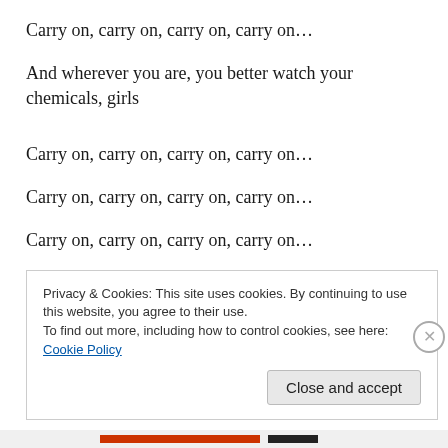Carry on, carry on, carry on, carry on…
And wherever you are, you better watch your chemicals, girls
Carry on, carry on, carry on, carry on…
Carry on, carry on, carry on, carry on…
Carry on, carry on, carry on, carry on…
Privacy & Cookies: This site uses cookies. By continuing to use this website, you agree to their use.
To find out more, including how to control cookies, see here: Cookie Policy